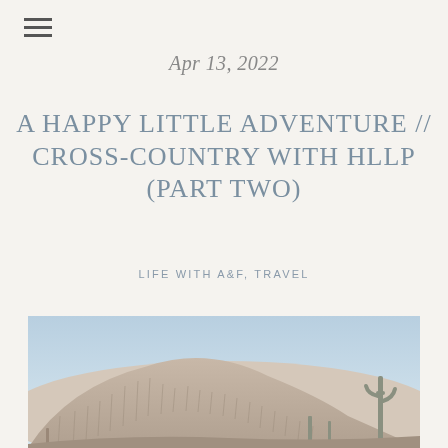☰ (hamburger menu icon)
Apr 13, 2022
A HAPPY LITTLE ADVENTURE // CROSS-COUNTRY WITH HLLP (PART TWO)
LIFE WITH A&F, TRAVEL
[Figure (photo): Outdoor desert landscape photograph showing a rocky hillside covered with saguaro cacti under a pale blue sky.]